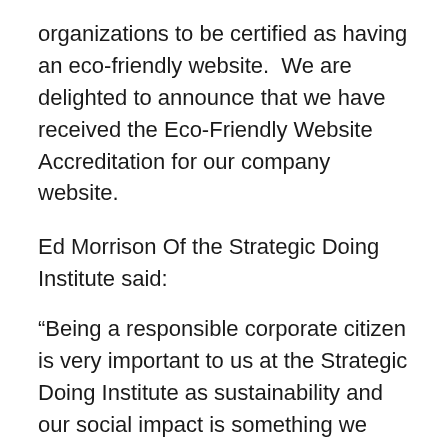organizations to be certified as having an eco-friendly website.  We are delighted to announce that we have received the Eco-Friendly Website Accreditation for our company website.
Ed Morrison Of the Strategic Doing Institute said:
“Being a responsible corporate citizen is very important to us at the Strategic Doing Institute as sustainability and our social impact is something we strongly advocate and support. This accreditation recognizes our digital sustainability leadership by taking responsibility to reduce the carbon footprint of our website and maintaining a low-carbon threshold while we work towards a net zero economy.”